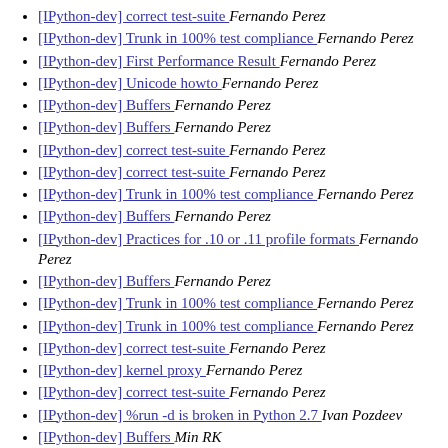[IPython-dev] correct test-suite  Fernando Perez
[IPython-dev] Trunk in 100% test compliance   Fernando Perez
[IPython-dev] First Performance Result  Fernando Perez
[IPython-dev] Unicode howto  Fernando Perez
[IPython-dev] Buffers  Fernando Perez
[IPython-dev] Buffers  Fernando Perez
[IPython-dev] correct test-suite  Fernando Perez
[IPython-dev] correct test-suite  Fernando Perez
[IPython-dev] Trunk in 100% test compliance   Fernando Perez
[IPython-dev] Buffers  Fernando Perez
[IPython-dev] Practices for .10 or .11 profile formats  Fernando Perez
[IPython-dev] Buffers  Fernando Perez
[IPython-dev] Trunk in 100% test compliance   Fernando Perez
[IPython-dev] Trunk in 100% test compliance   Fernando Perez
[IPython-dev] correct test-suite  Fernando Perez
[IPython-dev] kernel proxy  Fernando Perez
[IPython-dev] correct test-suite  Fernando Perez
[IPython-dev] %run -d is broken in Python 2.7  Ivan Pozdeev
[IPython-dev] Buffers  Min RK
[IPython-dev] Buffers  Min RK